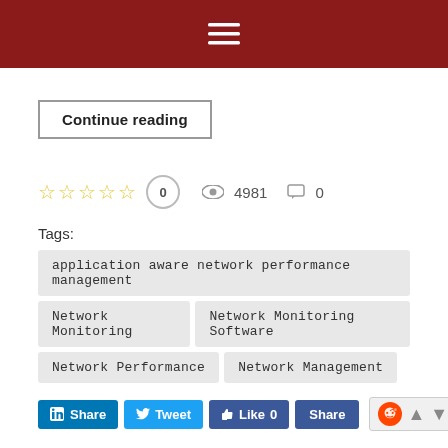≡
Continue reading
☆☆☆☆☆ 0   👁 4981   💬 0
Tags:
application aware network performance management
Network Monitoring
Network Monitoring Software
Network Performance
Network Management
in Share   Tweet   👍 Like 0   Share   [Reddit] ▲ ▼
ThreatARMOR Reduces Your Network's Attack Surface